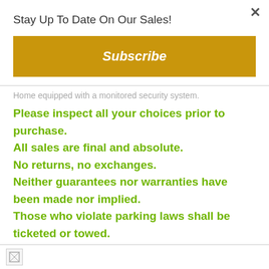Stay Up To Date On Our Sales!
Subscribe
Home equipped with a monitored security system.
Please inspect all your choices prior to purchase.
All sales are final and absolute.
No returns, no exchanges.
Neither guarantees nor warranties have been made nor implied.
Those who violate parking laws shall be ticketed or towed.
[Figure (other): Broken image placeholder at bottom of page]